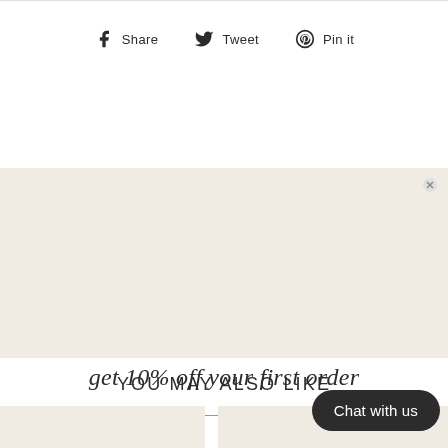Share  Tweet  Pin it
get 10% off your first order
Email
Sign up now
*not applicable on suitcase orders
YOU MAY ALSO LIKE
Chat with us